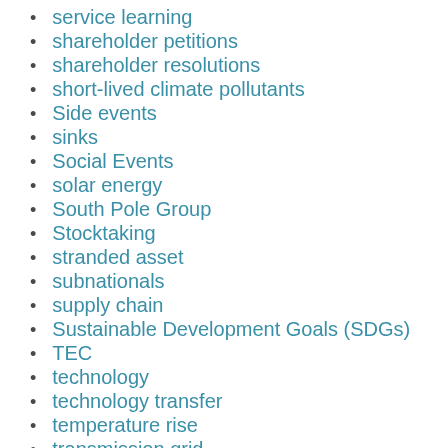service learning
shareholder petitions
shareholder resolutions
short-lived climate pollutants
Side events
sinks
Social Events
solar energy
South Pole Group
Stocktaking
stranded asset
subnationals
supply chain
Sustainable Development Goals (SDGs)
TEC
technology
technology transfer
temperature rise
transmission grid